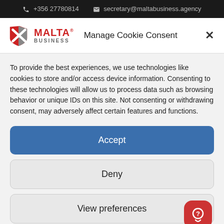📞 +356 27780814   ✉ secretary@maltabusiness.agency
[Figure (logo): Malta Business logo with red and grey shield icon and text MALTA BUSINESS]
Manage Cookie Consent
To provide the best experiences, we use technologies like cookies to store and/or access device information. Consenting to these technologies will allow us to process data such as browsing behavior or unique IDs on this site. Not consenting or withdrawing consent, may adversely affect certain features and functions.
Accept
Deny
View preferences
Cookie Policy   Privacy Policy   Term and condition